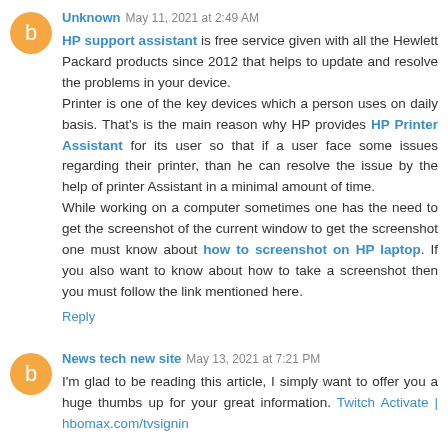Unknown May 11, 2021 at 2:49 AM
HP support assistant is free service given with all the Hewlett Packard products since 2012 that helps to update and resolve the problems in your device.
Printer is one of the key devices which a person uses on daily basis. That's is the main reason why HP provides HP Printer Assistant for its user so that if a user face some issues regarding their printer, than he can resolve the issue by the help of printer Assistant in a minimal amount of time.
While working on a computer sometimes one has the need to get the screenshot of the current window to get the screenshot one must know about how to screenshot on HP laptop. If you also want to know about how to take a screenshot then you must follow the link mentioned here.
Reply
News tech new site May 13, 2021 at 7:21 PM
I'm glad to be reading this article, I simply want to offer you a huge thumbs up for your great information. Twitch Activate | hbomax.com/tvsignin